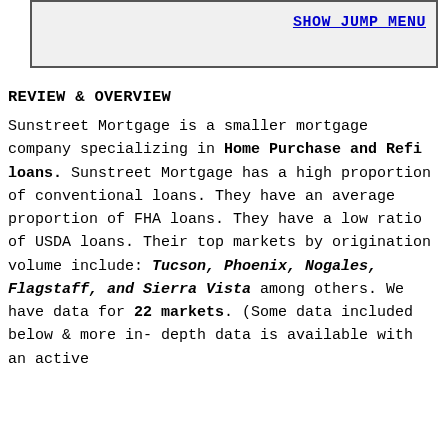SHOW JUMP MENU
REVIEW & OVERVIEW
Sunstreet Mortgage is a smaller mortgage company specializing in Home Purchase and Refi loans. Sunstreet Mortgage has a high proportion of conventional loans. They have an average proportion of FHA loans. They have a low ratio of USDA loans. Their top markets by origination volume include: Tucson, Phoenix, Nogales, Flagstaff, and Sierra Vista among others. We have data for 22 markets. (Some data included below & more in-depth data is available with an active